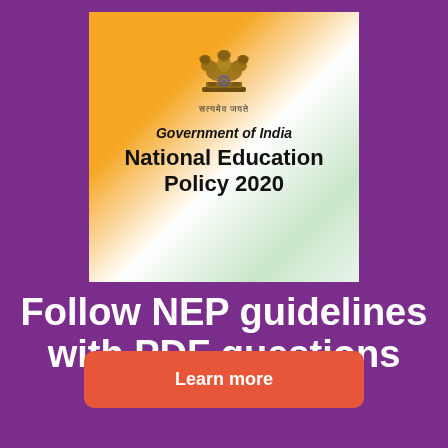[Figure (illustration): India Government National Education Policy 2020 book cover with Ashoka Emblem, saffron-white-green gradient background, text 'Government of India' and 'National Education Policy 2020']
Follow NEP guidelines with PDF questions
Learn more